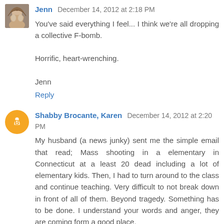Jenn  December 14, 2012 at 2:18 PM
You've said everything I feel... I think we're all dropping a collective F-bomb.

Horrific, heart-wrenching.

Jenn
Reply
Shabby Brocante, Karen  December 14, 2012 at 2:20 PM
My husband (a news junky) sent me the simple email that read; Mass shooting in a elementary in Connecticut at a least 20 dead including a lot of elementary kids. Then, I had to turn around to the class and continue teaching. Very difficult to not break down in front of all of them. Beyond tragedy. Something has to be done. I understand your words and anger, they are coming form a good place.
So sad.
Karen
Reply